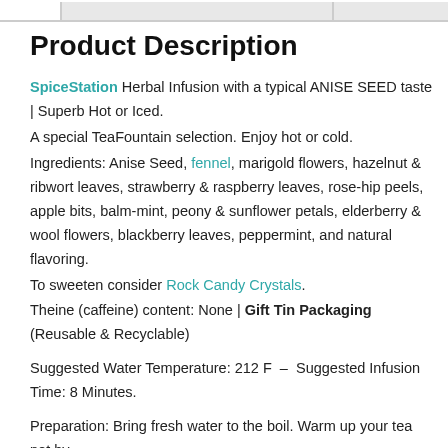Product Description
SpiceStation Herbal Infusion with a typical ANISE SEED taste | Superb Hot or Iced.
A special TeaFountain selection. Enjoy hot or cold.
Ingredients: Anise Seed, fennel, marigold flowers, hazelnut & ribwort leaves, strawberry & raspberry leaves, rose-hip peels, apple bits, balm-mint, peony & sunflower petals, elderberry & wool flowers, blackberry leaves, peppermint, and natural flavoring.
To sweeten consider Rock Candy Crystals.
Theine (caffeine) content: None | Gift Tin Packaging (Reusable & Recyclable)
Suggested Water Temperature: 212 F – Suggested Infusion Time: 8 Minutes.
Preparation: Bring fresh water to the boil. Warm up your tea pot by